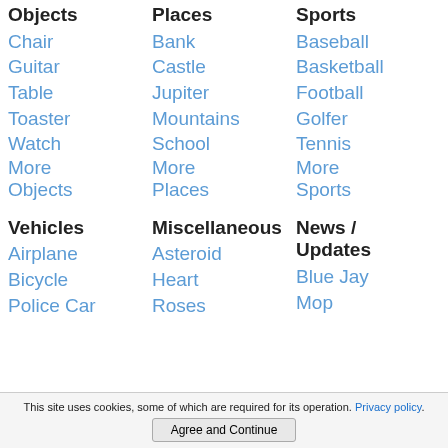Objects
Chair
Guitar
Table
Toaster
Watch
More Objects
Places
Bank
Castle
Jupiter
Mountains
School
More Places
Sports
Baseball
Basketball
Football
Golfer
Tennis
More Sports
Vehicles
Airplane
Bicycle
Police Car
Miscellaneous
Asteroid
Heart
Roses
News / Updates
Blue Jay
Mop
This site uses cookies, some of which are required for its operation. Privacy policy.